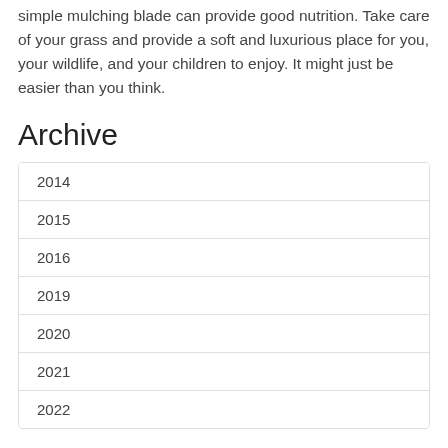simple mulching blade can provide good nutrition. Take care of your grass and provide a soft and luxurious place for you, your wildlife, and your children to enjoy. It might just be easier than you think.
Archive
2014
2015
2016
2019
2020
2021
2022